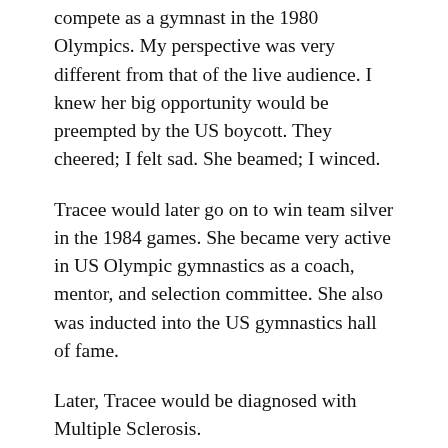compete as a gymnast in the 1980 Olympics. My perspective was very different from that of the live audience. I knew her big opportunity would be preempted by the US boycott. They cheered; I felt sad. She beamed; I winced.
Tracee would later go on to win team silver in the 1984 games. She became very active in US Olympic gymnastics as a coach, mentor, and selection committee. She also was inducted into the US gymnastics hall of fame.
Later, Tracee would be diagnosed with Multiple Sclerosis.
So, what would I have told her if I had this 40-year foreknowledge and lived within her sphere? How would I encourage her to train hard, pursue excellence, persevere, and respond to the setbacks